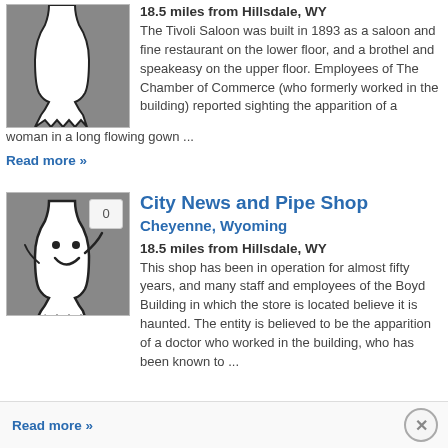[Figure (illustration): Ghost illustration on gray background - top entry (Tivoli Saloon)]
18.5 miles from Hillsdale, WY
The Tivoli Saloon was built in 1893 as a saloon and fine restaurant on the lower floor, and a brothel and speakeasy on the upper floor. Employees of The Chamber of Commerce (who formerly worked in the building) reported sighting the apparition of a woman in a long flowing gown ...
Read more »
[Figure (illustration): Ghost illustration on gray background - City News and Pipe Shop]
City News and Pipe Shop
Cheyenne, Wyoming
18.5 miles from Hillsdale, WY
This shop has been in operation for almost fifty years, and many staff and employees of the Boyd Building in which the store is located believe it is haunted. The entity is believed to be the apparition of a doctor who worked in the building, who has been known to ...
Read more »